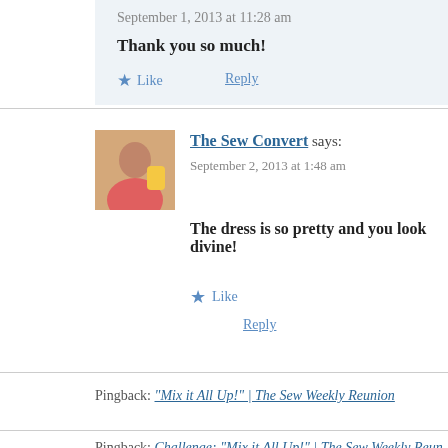Thank you so much!
Like
Reply
The Sew Convert says:
September 2, 2013 at 1:48 am
The dress is so pretty and you look divine!
Like
Reply
Pingback: "Mix it All Up!" | The Sew Weekly Reunion